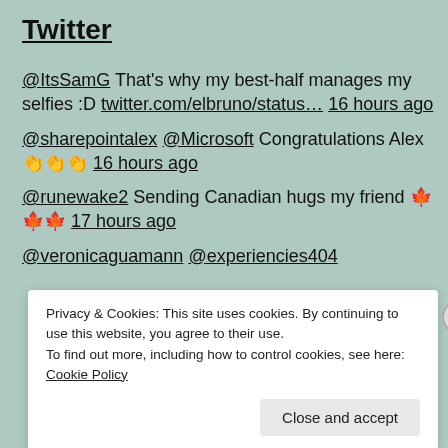Twitter
@ItsSamG That's why my best-half manages my selfies :D twitter.com/elbruno/status… 16 hours ago
@sharepointalex @Microsoft Congratulations Alex 👏👏👏 16 hours ago
@runewake2 Sending Canadian hugs my friend 🍁🍁🍁 17 hours ago
@veronicaguamann @experiencies404
Privacy & Cookies: This site uses cookies. By continuing to use this website, you agree to their use. To find out more, including how to control cookies, see here: Cookie Policy
Close and accept